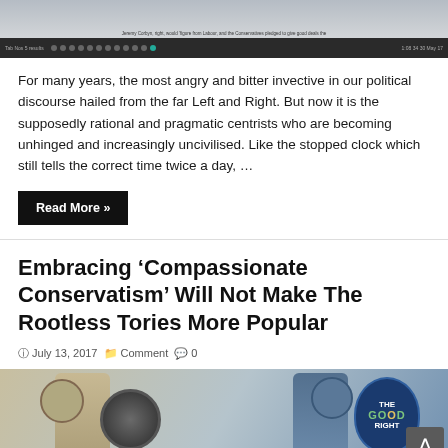[Figure (screenshot): Screenshot of a web browser showing an article with a photo at top, browser toolbar visible at bottom of screenshot]
For many years, the most angry and bitter invective in our political discourse hailed from the far Left and Right. But now it is the supposedly rational and pragmatic centrists who are becoming unhinged and increasingly uncivilised. Like the stopped clock which still tells the correct time twice a day, …
Read More »
Embracing ‘Compassionate Conservatism’ Will Not Make The Rootless Tories More Popular
July 13, 2017  Comment  0
[Figure (illustration): Illustration of two armored figures in combat, one holding a round shield and the other holding a blue shield with 'THE GOOD RIGHT' text]